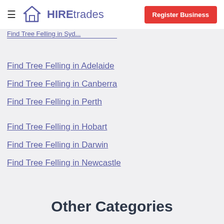HIREtrades | Register Business
Find Tree Felling in Adelaide
Find Tree Felling in Canberra
Find Tree Felling in Perth
Find Tree Felling in Hobart
Find Tree Felling in Darwin
Find Tree Felling in Newcastle
Other Categories